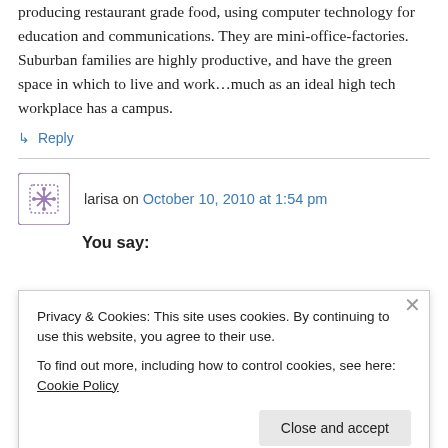producing restaurant grade food, using computer technology for education and communications. They are mini-office-factories. Suburban families are highly productive, and have the green space in which to live and work…much as an ideal high tech workplace has a campus.
↳ Reply
larisa on October 10, 2010 at 1:54 pm
You say:
Privacy & Cookies: This site uses cookies. By continuing to use this website, you agree to their use.
To find out more, including how to control cookies, see here: Cookie Policy
Close and accept